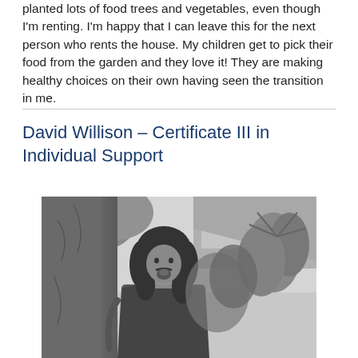planted lots of food trees and vegetables, even though I'm renting. I'm happy that I can leave this for the next person who rents the house. My children get to pick their food from the garden and they love it! They are making healthy choices on their own having seen the transition in me.
David Willison – Certificate III in Individual Support
[Figure (photo): Black and white photograph of David Willison, a man with long curly dark hair and a goatee beard, standing outdoors near a large tree trunk with tropical plants and a building visible in the background.]